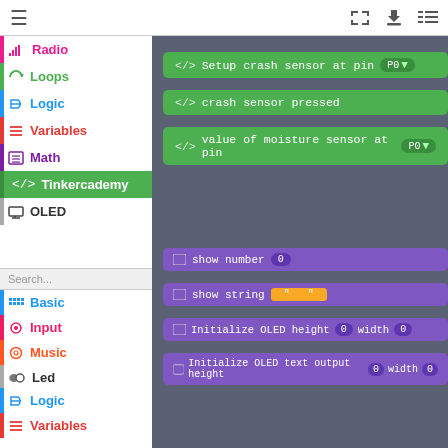[Figure (screenshot): Tinkercademy block-based coding IDE screenshot showing a sidebar with categories (Radio, Loops, Logic, Variables, Math, Tinkercademy, OLED, Basic, Input, Music, Led, Radio, Loops, Logic, Variables) on the left, and a dark panel on the right with green code blocks (Setup crash sensor at pin P0, crash sensor pressed, value of moisture sensor at pin P0) and purple OLED blocks (show number 0, show string, Initialize OLED height 0 width 0, Initialize OLED text output height 0 width 0). Top bar has hamburger menu, fullscreen, download, and list icons.]